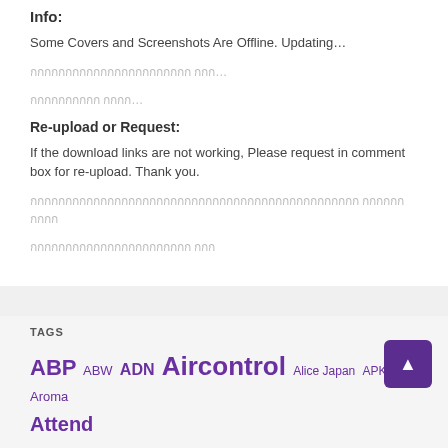Info:
Some Covers and Screenshots Are Offline. Updating…
กกกกกกกกกกกกกกกกกกกกกกก กกก…
กกกกกกกกกก กกกก…
Re-upload or Request:
If the download links are not working, Please request in comment box for re-upload. Thank you.
กกกกกกกกกกกกกกกกกกกกกกกกกกกกกกกกกกกกกกกกกกกกกกก กกกกกกกกกก
กกกกกกกกกกกกกกกกกกกกกกก กกก
TAGS
ABP ABW ADN Aircontrol Alice Japan APKH Aroma Attend…